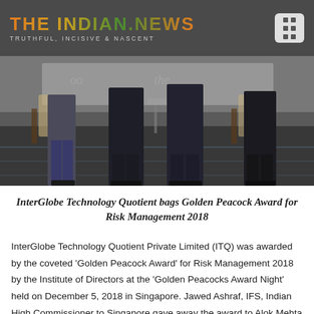THE INDIAN.NEWS — TRUTHFUL, INCISIVE & NASCENT
[Figure (photo): Photo of several men standing in formal attire at an event, chairs visible in the background, taken from a low angle showing torsos and legs.]
InterGlobe Technology Quotient bags Golden Peacock Award for Risk Management 2018
InterGlobe Technology Quotient Private Limited (ITQ) was awarded by the coveted 'Golden Peacock Award' for Risk Management 2018 by the Institute of Directors at the 'Golden Peacocks Award Night' held on December 5, 2018 in Singapore. Jawed Ashraf, IFS, Indian High Commissioner to Singapore gave away the award to Alok Mehta (Group Chief Governance Officer, InterGlobe Enterprises) and Munish